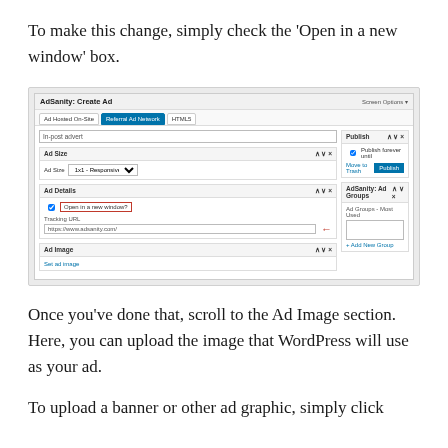To make this change, simply check the 'Open in a new window' box.
[Figure (screenshot): AdSanity: Create Ad WordPress admin interface showing Ad Details section with 'Open in a new window' checkbox highlighted in red border, Tracking URL field with red arrow pointing to it, and sidebar panels for Publish and AdSanity Ad Groups.]
Once you've done that, scroll to the Ad Image section. Here, you can upload the image that WordPress will use as your ad.
To upload a banner or other ad graphic, simply click